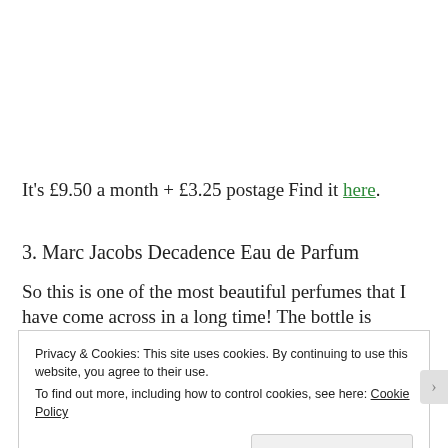It's £9.50 a month + £3.25 postage
Find it here.
3. Marc Jacobs Decadence Eau de Parfum
So this is one of the most beautiful perfumes that I have come across in a long time! The bottle is stunning, and it smells AH-MAZING!
Privacy & Cookies: This site uses cookies. By continuing to use this website, you agree to their use.
To find out more, including how to control cookies, see here: Cookie Policy
Close and accept